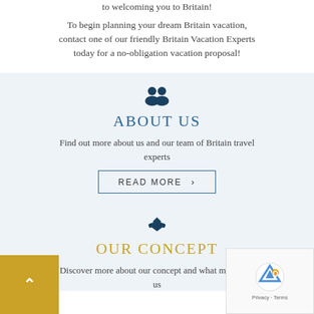to welcoming you to Britain!
To begin planning your dream Britain vacation, contact one of our friendly Britain Vacation Experts today for a no-obligation vacation proposal!
[Figure (illustration): People icon (silhouette of two persons)]
ABOUT US
Find out more about us and our team of Britain travel experts
READ MORE >
[Figure (illustration): Handshake icon]
OUR CONCEPT
Discover more about our concept and what motivates us